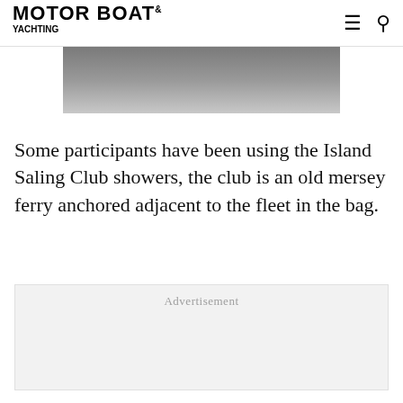MOTOR BOAT
[Figure (photo): Partially visible cropped photograph, upper portion showing a grey/dark image likely of boats or water, fading at the bottom]
Some participants have been using the Island Saling Club showers, the club is an old mersey ferry anchored adjacent to the fleet in the bag.
Advertisement